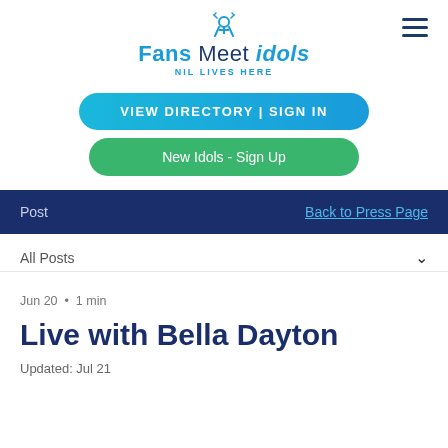Fans Meet idols NIL LIVES HERE
VIEW DIRECTORY | SIGN IN
New Idols - Sign Up
Post   Back to Press Page
All Posts
Jun 20 · 1 min
Live with Bella Dayton
Updated: Jul 21